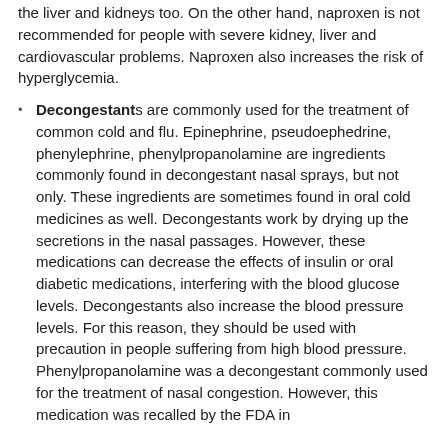the liver and kidneys too. On the other hand, naproxen is not recommended for people with severe kidney, liver and cardiovascular problems. Naproxen also increases the risk of hyperglycemia.
Decongestants are commonly used for the treatment of common cold and flu. Epinephrine, pseudoephedrine, phenylephrine, phenylpropanolamine are ingredients commonly found in decongestant nasal sprays, but not only. These ingredients are sometimes found in oral cold medicines as well. Decongestants work by drying up the secretions in the nasal passages. However, these medications can decrease the effects of insulin or oral diabetic medications, interfering with the blood glucose levels. Decongestants also increase the blood pressure levels. For this reason, they should be used with precaution in people suffering from high blood pressure. Phenylpropanolamine was a decongestant commonly used for the treatment of nasal congestion. However, this medication was recalled by the FDA in